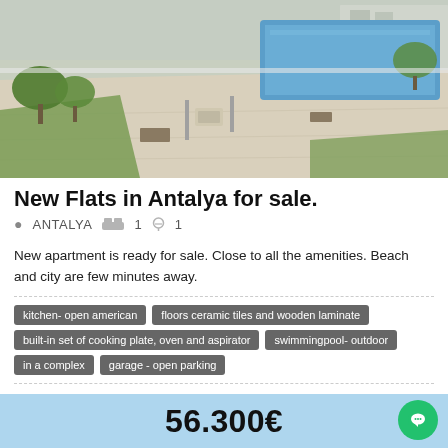[Figure (photo): Aerial/outdoor view of a residential complex with a swimming pool, paved terrace, grass areas, and trees. Modern apartments visible in background.]
New Flats in Antalya for sale.
ANTALYA  🛏 1  🚿 1
New apartment is ready for sale. Close to all the amenities. Beach and city are few minutes away.
kitchen- open american
floors ceramic tiles and wooden laminate
built-in set of cooking plate, oven and aspirator
swimmingpool- outdoor
in a complex
garage - open parking
ID:anta153a Konyaaltı, Altınkum Mh., Antalya, Turkey
56.300€